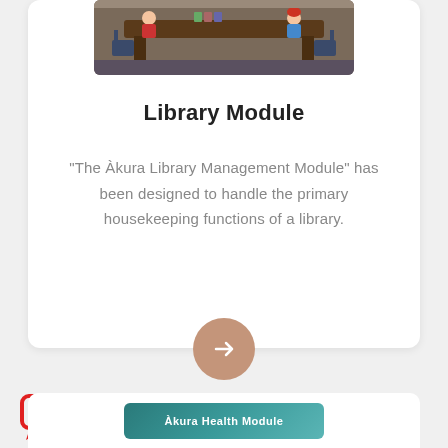[Figure (illustration): Illustration of a library scene with a large table, chairs, and cartoon-style figures sitting around it with books.]
Library Module
“The Àkura Library Management Module” has been designed to handle the primary housekeeping functions of a library.
[Figure (infographic): Rounded arrow button circle in tan/brown color with a right-pointing arrow, used as a navigation element.]
[Figure (screenshot): Red speech bubble / chat icon in the bottom left corner of the page.]
[Figure (illustration): Partial view of the next card below showing a teal/green banner with text partially visible reading something like 'Library Health Module'.]